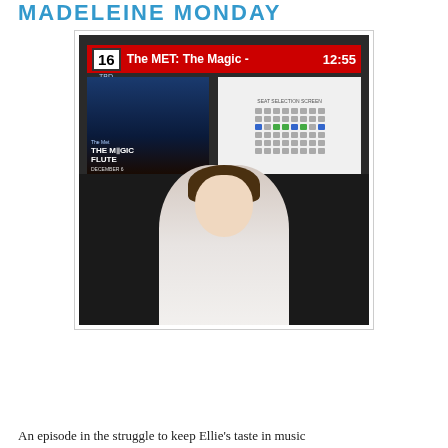MADELEINE MONDAY
[Figure (photo): A young girl smiling and standing in front of a TV screen showing 'The MET: The Magic -' on channel 16 at 12:55, with a seating chart display visible. The TV shows The Magic Flute opera advertisement.]
An episode in the struggle to keep Ellie's taste in music